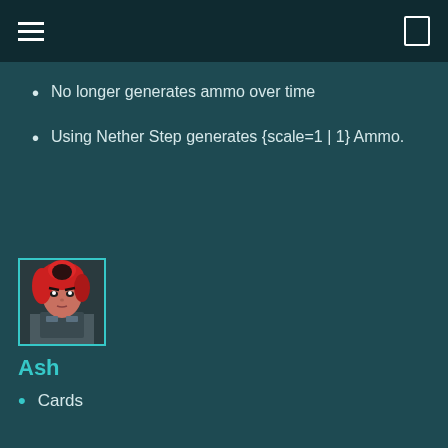No longer generates ammo over time
Using Nether Step generates {scale=1 | 1} Ammo.
[Figure (illustration): Character portrait of Ash – a female character with red hair and armored outfit, framed with a teal border.]
Ash
Cards